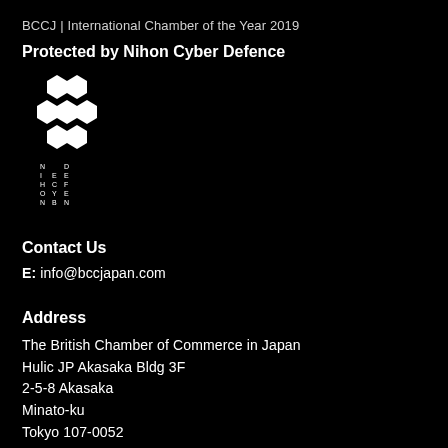BCCJ | International Chamber of the Year 2019
Protected by Nihon Cyber Defence
[Figure (logo): Nihon Cyber Defence logo: hexagonal honeycomb pattern in white on black background, with stylized vertical text spelling NIHON CYBER DEFENCE below]
Contact Us
E: info@bccjapan.com
Address
The British Chamber of Commerce in Japan
Hulic JP Akasaka Bldg 3F
2-5-8 Akasaka
Minato-ku
Tokyo 107-0052